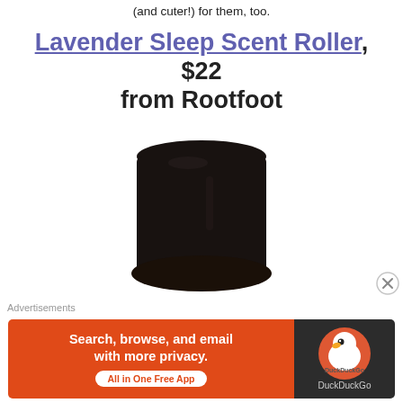(and cuter!) for them, too.
Lavender Sleep Scent Roller, $22 from Rootfoot
[Figure (photo): Close-up top view of a dark glass essential oil roller bottle with a black cap, on a white background.]
Advertisements
[Figure (screenshot): DuckDuckGo advertisement banner: orange left side reads 'Search, browse, and email with more privacy. All in One Free App'; dark right side shows DuckDuckGo logo.]